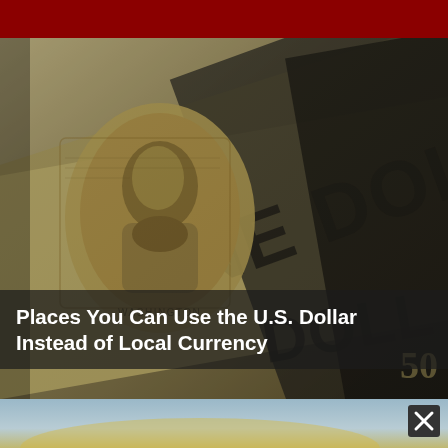[Figure (photo): Close-up sepia/black-and-white photograph of stacked U.S. one dollar bills showing George Washington's portrait and the text 'ONE DOLLAR' diagonally across the bills.]
Places You Can Use the U.S. Dollar Instead of Local Currency
[Figure (photo): Partial view of a landscape photo with sky, partially obscured. A dark close button (X) appears in the top-right corner.]